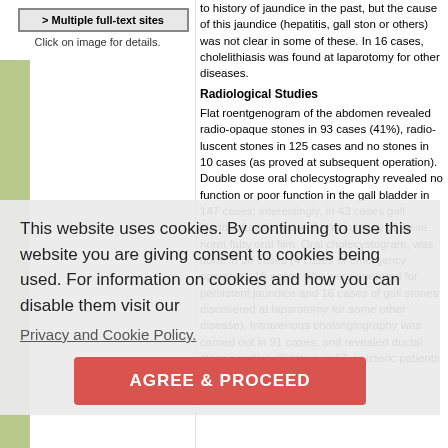[Figure (screenshot): Button showing '> Multiple full-text sites' with caption 'Click on image for details.']
Click on image for details.
to history of jaundice in the past, but the cause of this jaundice (hepatitis, gall stones or others) was not clear in some of these. In 16 cases, cholelithiasis was found at laparotomy for other diseases.
Radiological Studies
Flat roentgenogram of the abdomen revealed radio-opaque stones in 93 cases (41%), radio-luscent stones in 125 cases and no stones in 10 cases (as proved at subsequent operation). Double dose oral cholecystography revealed no function or poor function in the gall bladder in 147 cases; interestingly, in 43 cases gall bladder functioned well and in many of these normal fatty oral film. Oral cholecystogram, was done in 38 cases (4 cases of emergency operation, 18 cases who were operated for persistent jaundice and 16 cases of gall stones discovered at laparotomy for some other disease). Intravenous cholangiography was carried out in 91 cases, and revealed ductal stones and/or dilatation in 17. In icteric patients neither oral nor intravenous cholangiography was attempted till the
This website uses cookies. By continuing to use this website you are giving consent to cookies being used. For information on cookies and how you can disable them visit our
Privacy and Cookie Policy.
AGREE & PROCEED